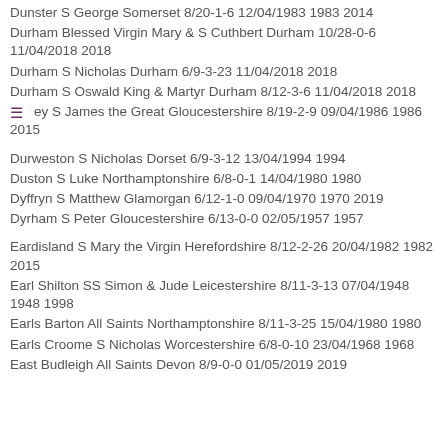Dunster S George Somerset 8/20-1-6 12/04/1983 1983 2014
Durham Blessed Virgin Mary & S Cuthbert Durham 10/28-0-6 11/04/2018 2018
Durham S Nicholas Durham 6/9-3-23 11/04/2018 2018
Durham S Oswald King & Martyr Durham 8/12-3-6 11/04/2018 2018
Dursley S James the Great Gloucestershire 8/19-2-9 09/04/1986 1986 2015
Durweston S Nicholas Dorset 6/9-3-12 13/04/1994 1994
Duston S Luke Northamptonshire 6/8-0-1 14/04/1980 1980
Dyffryn S Matthew Glamorgan 6/12-1-0 09/04/1970 1970 2019
Dyrham S Peter Gloucestershire 6/13-0-0 02/05/1957 1957
Eardisland S Mary the Virgin Herefordshire 8/12-2-26 20/04/1982 1982 2015
Earl Shilton SS Simon & Jude Leicestershire 8/11-3-13 07/04/1948 1948 1998
Earls Barton All Saints Northamptonshire 8/11-3-25 15/04/1980 1980
Earls Croome S Nicholas Worcestershire 6/8-0-10 23/04/1968 1968
East Budleigh All Saints Devon 8/9-0-0 01/05/2019 2019